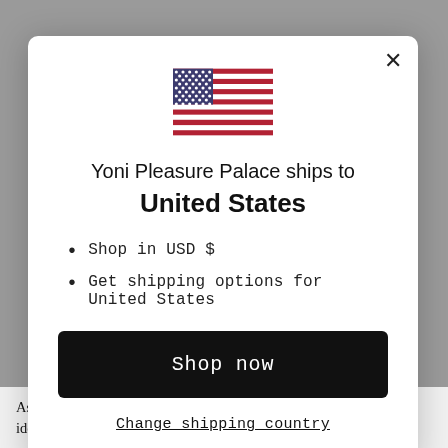[Figure (illustration): US flag emoji/icon displayed at top center of modal]
Yoni Pleasure Palace ships to
United States
Shop in USD $
Get shipping options for United States
Shop now
Change shipping country
As I just mentioned, we have been unfairly subjected to unrealistic ideals in terms of what our yonis should look